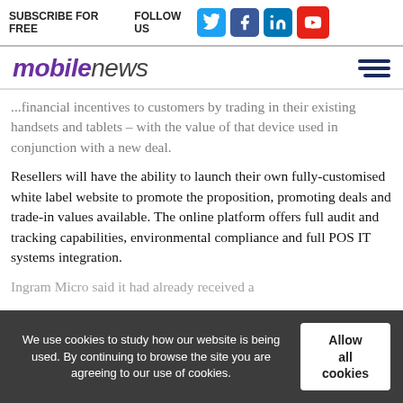SUBSCRIBE FOR FREE | FOLLOW US
[Figure (logo): Mobile News logo with purple 'mobile' and grey 'news' in italic, plus social media icons (Twitter, Facebook, LinkedIn, YouTube) in header]
...financial incentives to customers by trading in their existing handsets and tablets – with the value of that device used in conjunction with a new deal.
Resellers will have the ability to launch their own fully-customised white label website to promote the proposition, promoting deals and trade-in values available. The online platform offers full audit and tracking capabilities, environmental compliance and full POS IT systems integration.
Ingram Micro said it had already received a...
We use cookies to study how our website is being used. By continuing to browse the site you are agreeing to our use of cookies.